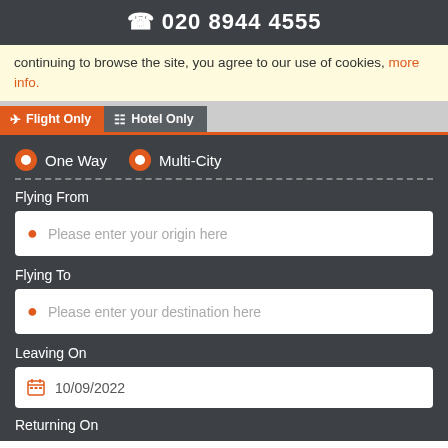020 8944 4555
continuing to browse the site, you agree to our use of cookies, more info.
Flight Only | Hotel Only (tabs)
One Way   Multi-City
Flying From
Please enter your origin here
Flying To
Please enter your destination here
Leaving On
10/09/2022
Returning On